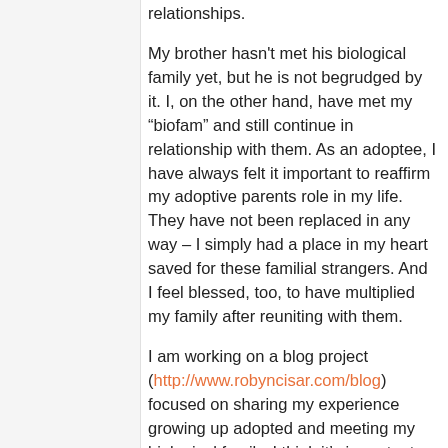relationships.
My brother hasn't met his biological family yet, but he is not begrudged by it. I, on the other hand, have met my “biofam” and still continue in relationship with them. As an adoptee, I have always felt it important to reaffirm my adoptive parents role in my life. They have not been replaced in any way – I simply had a place in my heart saved for these familial strangers. And I feel blessed, too, to have multiplied my family after reuniting with them.
I am working on a blog project (http://www.robyncisar.com/blog) focused on sharing my experience growing up adopted and meeting my biological family. I think it’s important for the adoptees’ experiences to be documented and understood by all parents –